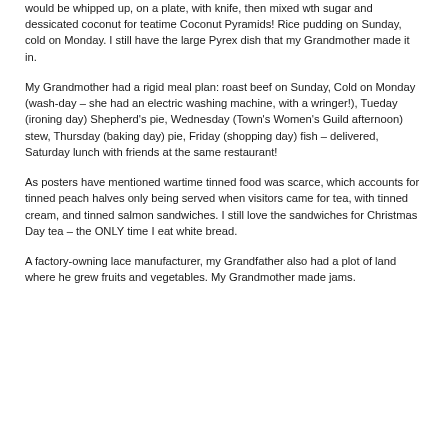would be whipped up, on a plate, with knife, then mixed wth sugar and dessicated coconut for teatime Coconut Pyramids! Rice pudding on Sunday, cold on Monday. I still have the large Pyrex dish that my Grandmother made it in.
My Grandmother had a rigid meal plan: roast beef on Sunday, Cold on Monday (wash-day – she had an electric washing machine, with a wringer!), Tueday (ironing day) Shepherd's pie, Wednesday (Town's Women's Guild afternoon) stew, Thursday (baking day) pie, Friday (shopping day) fish – delivered, Saturday lunch with friends at the same restaurant!
As posters have mentioned wartime tinned food was scarce, which accounts for tinned peach halves only being served when visitors came for tea, with tinned cream, and tinned salmon sandwiches. I still love the sandwiches for Christmas Day tea – the ONLY time I eat white bread.
A factory-owning lace manufacturer, my Grandfather also had a plot of land where he grew fruits and vegetables. My Grandmother made jams.